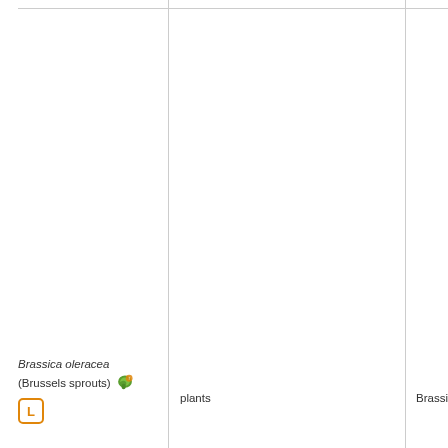Brassica oleracea (Brussels sprouts)
plants
Brassic